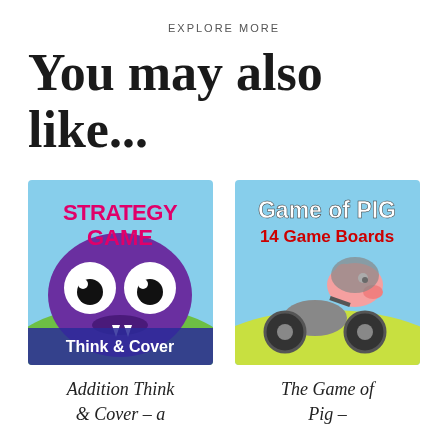EXPLORE MORE
You may also like...
[Figure (illustration): Strategy Game Think & Cover - cartoon purple monster with large eyes on colorful background with pink text 'STRATEGY GAME' and white text 'Think & Cover']
Addition Think & Cover – a
[Figure (illustration): Game of PIG 14 Game Boards - cartoon pig on motorcycle with text 'Game of PIG' in white and '14 Game Boards' in red on yellow-green background]
The Game of Pig –